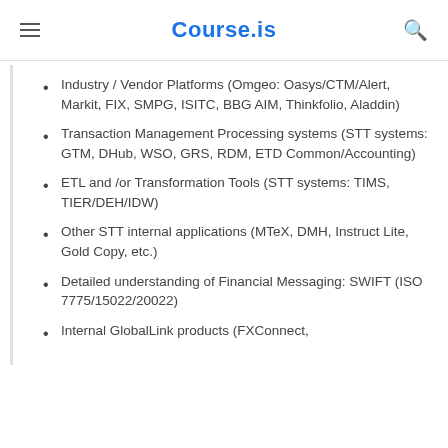Course.is
Industry / Vendor Platforms (Omgeo: Oasys/CTM/Alert, Markit, FIX, SMPG, ISITC, BBG AIM, Thinkfolio, Aladdin)
Transaction Management Processing systems (STT systems: GTM, DHub, WSO, GRS, RDM, ETD Common/Accounting)
ETL and /or Transformation Tools (STT systems: TIMS, TIER/DEH/IDW)
Other STT internal applications (MTeX, DMH, Instruct Lite, Gold Copy, etc.)
Detailed understanding of Financial Messaging: SWIFT (ISO 7775/15022/20022)
Internal GlobalLink products (FXConnect,